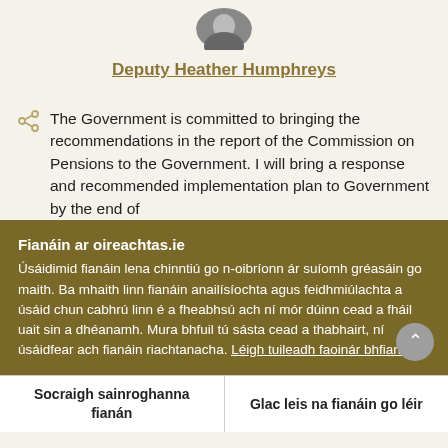[Figure (photo): Circular avatar/profile photo of Deputy Heather Humphreys, cropped at top]
Deputy Heather Humphreys
The Government is committed to bringing the recommendations in the report of the Commission on Pensions to the Government. I will bring a response and recommended implementation plan to Government by the end of
Fianáin ar oireachtas.ie
Úsáidimid fianáin lena chinntiú go n-oibríonn ár suíomh gréasáin go maith. Ba mhaith linn fianáin anailísíochta agus feidhmiúlachta a úsáid chun cabhrú linn é a fheabhsú ach ní mór dúinn cead a fháil uait sin a dhéanamh. Mura bhfuil tú sásta cead a thabhairt, ní úsáidfear ach fianáin riachtanacha. Léigh tuileadh faoinár bhfianáin
Socraigh sainroghanna fianán
Glac leis na fianáin go léir